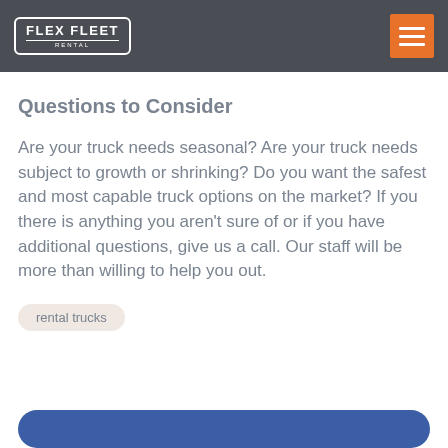FLEX FLEET RENTAL
Questions to Consider
Are your truck needs seasonal? Are your truck needs subject to growth or shrinking? Do you want the safest and most capable truck options on the market? If you there is anything you aren't sure of or if you have additional questions, give us a call. Our staff will be more than willing to help you out.
rental trucks